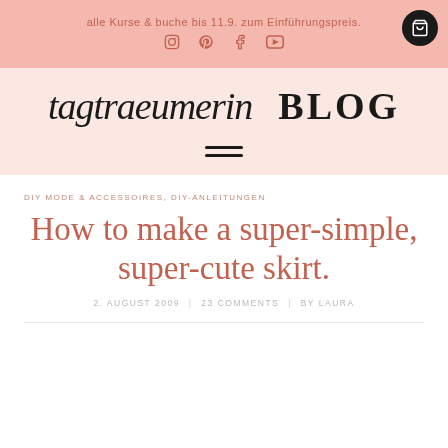alle Kurse & buche bis 11.9. zum Einführungspreis.
[Figure (logo): Social media icons: Instagram, Pinterest, Facebook, YouTube]
[Figure (logo): tagtraeumerin BLOG logo with shopping cart icon]
[Figure (other): Hamburger menu icon (three horizontal lines)]
DIY MODE & ACCESSOIRES, DIY-ANLEITUNGEN
How to make a super-simple, super-cute skirt.
2. AUGUST 2009   23 COMMENTS   BY LAURA